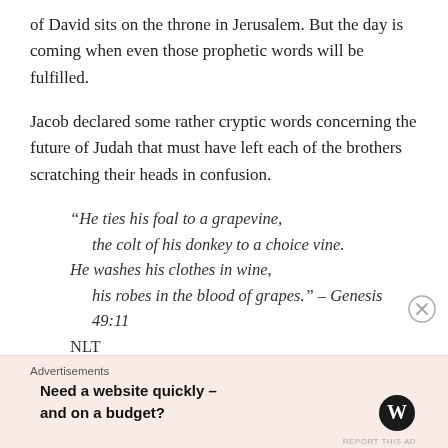of David sits on the throne in Jerusalem. But the day is coming when even those prophetic words will be fulfilled.
Jacob declared some rather cryptic words concerning the future of Judah that must have left each of the brothers scratching their heads in confusion.
“He ties his foal to a grapevine,
    the colt of his donkey to a choice vine.
He washes his clothes in wine,
    his robes in the blood of grapes.” – Genesis 49:11 NLT
Advertisements
Need a website quickly – and on a budget?